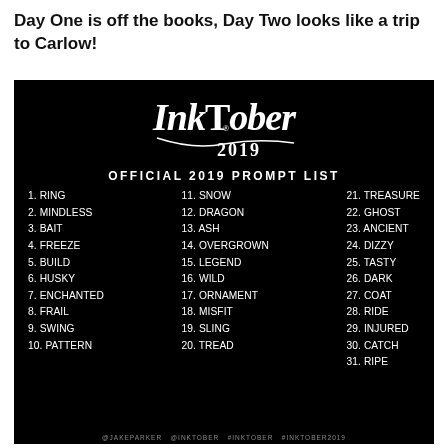Day One is off the books, Day Two looks like a trip to Carlow!
[Figure (other): Inktober 2019 Official Prompt List on black background with decorative script logo and 31 numbered prompts in three columns: 1.RING, 2.MINDLESS, 3.BAIT, 4.FREEZE, 5.BUILD, 6.HUSKY, 7.ENCHANTED, 8.FRAIL, 9.SWING, 10.PATTERN, 11.SNOW, 12.DRAGON, 13.ASH, 14.OVERGROWN, 15.LEGEND, 16.WILD, 17.ORNAMENT, 18.MISFIT, 19.SLING, 20.TREAD, 21.TREASURE, 22.GHOST, 23.ANCIENT, 24.DIZZY, 25.TASTY, 26.DARK, 27.COAT, 28.RIDE, 29.INJURED, 30.CATCH, 31.RIPE]